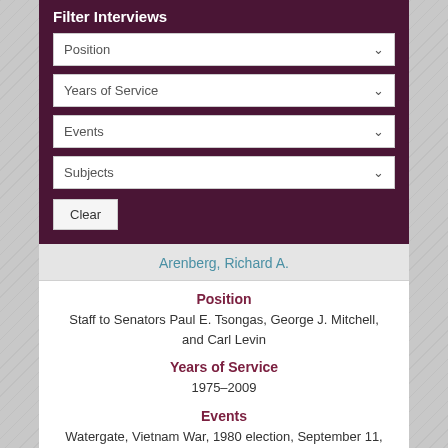Filter Interviews
Position
Years of Service
Events
Subjects
Clear
Arenberg, Richard A.
Position
Staff to Senators Paul E. Tsongas, George J. Mitchell, and Carl Levin
Years of Service
1975–2009
Events
Watergate, Vietnam War, 1980 election, September 11, 2001